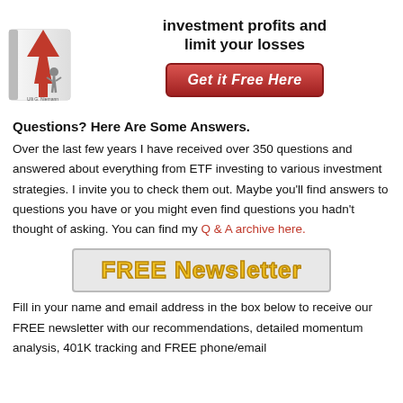[Figure (illustration): Book cover with red upward arrow and person figure, next to bold headline text and red 'Get it Free Here' button]
Questions? Here Are Some Answers.
Over the last few years I have received over 350 questions and answered about everything from ETF investing to various investment strategies. I invite you to check them out. Maybe you'll find answers to questions you have or you might even find questions you hadn't thought of asking. You can find my Q & A archive here.
[Figure (other): FREE Newsletter banner with yellow bold text on gray background with border]
Fill in your name and email address in the box below to receive our FREE newsletter with our recommendations, detailed momentum analysis, 401K tracking and FREE phone/email